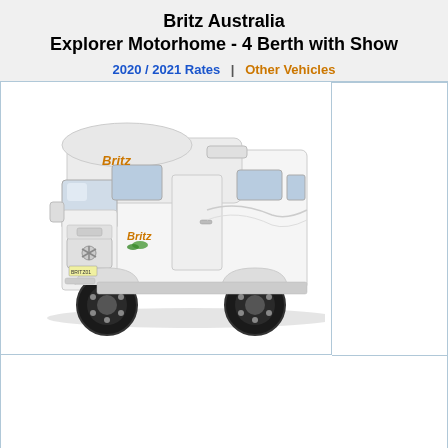Britz Australia Explorer Motorhome - 4 Berth with Show
2020 / 2021 Rates  |  Other Vehicles
[Figure (photo): White Britz Australia Explorer Motorhome (4 berth), a large Mercedes-Benz based motorhome with 'Britz' branding on the cab and body, photographed from a front-left angle on a light background.]